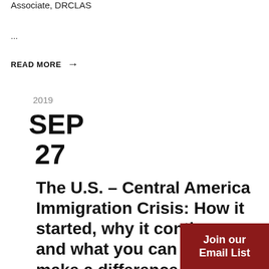Associate, DRCLAS
...
READ MORE →
2019
SEP
27
The U.S. – Central America Immigration Crisis: How it started, why it continues and what you can do to make a difference
Join our Email List